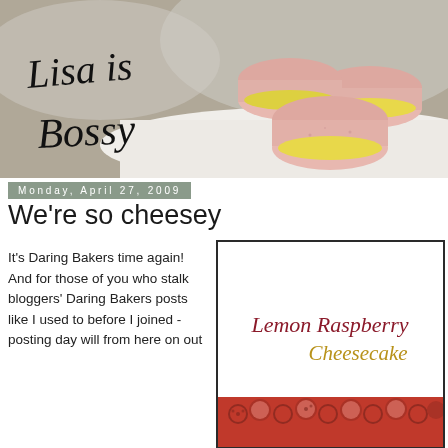[Figure (photo): Blog header photo showing pink macarons with yellow cream filling stacked on a white plate, with cursive text 'Lisa is Bossy' overlaid on the left side]
Monday, April 27, 2009
We're so cheesey
It's Daring Bakers time again! And for those of you who stalk bloggers' Daring Bakers posts like I used to before I joined - posting day will from here on out
[Figure (illustration): Recipe card with cursive text 'Lemon Raspberry' in dark red and 'Cheesecake' in gold/yellow, with a strip of red berries/raspberries at the bottom, bordered by a dark frame]